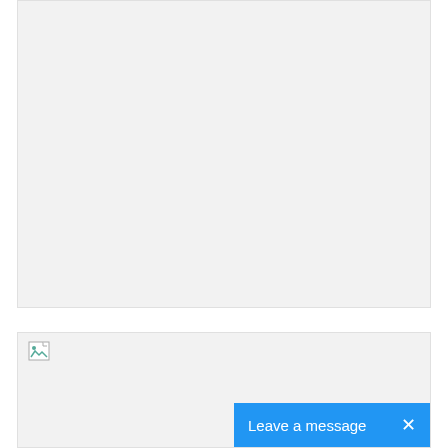FIND US ON FACEBOOK
[Figure (other): Facebook plugin embed area — light gray box with content area]
[Figure (other): Lower content box with a broken image placeholder in top-left corner and a blue 'Leave a message' chat button overlay in the bottom-right]